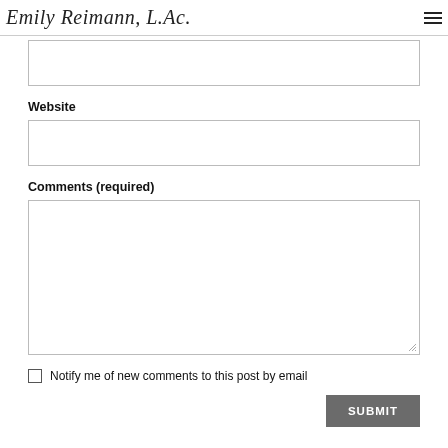Emily Reimann, L.Ac.
Website
Comments (required)
Notify me of new comments to this post by email
SUBMIT